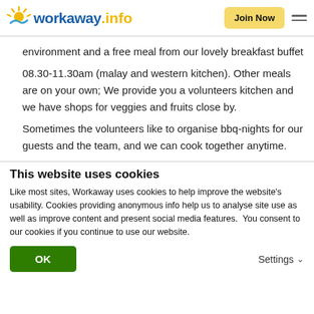workaway.info — Join Now
environment and a free meal from our lovely breakfast buffet
08.30-11.30am (malay and western kitchen). Other meals are on your own; We provide you a volunteers kitchen and we have shops for veggies and fruits close by.
Sometimes the volunteers like to organise bbq-nights for our guests and the team, and we can cook together anytime.
This website uses cookies
Like most sites, Workaway uses cookies to help improve the website's usability. Cookies providing anonymous info help us to analyse site use as well as improve content and present social media features.  You consent to our cookies if you continue to use our website.
OK
Settings